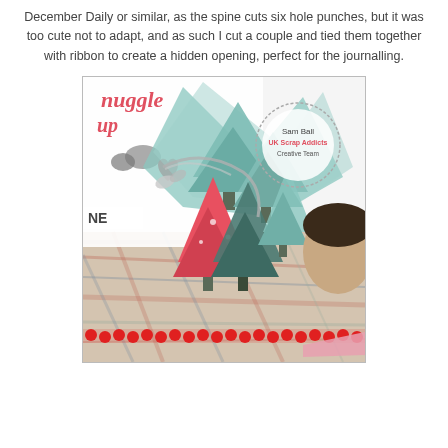December Daily or similar, as the spine cuts six hole punches, but it was too cute not to adapt, and as such I cut a couple and tied them together with ribbon to create a hidden opening, perfect for the journalling.
[Figure (photo): A close-up photo of a scrapbooking project featuring paper Christmas trees in teal and red colors, plaid patterned paper, red pom-pom trim, a 'Snuggle Up' graphic with mittens and a heart, and a circular watermark stamp reading 'Sam Ball UK Scrap Addicts Creative Team'.]